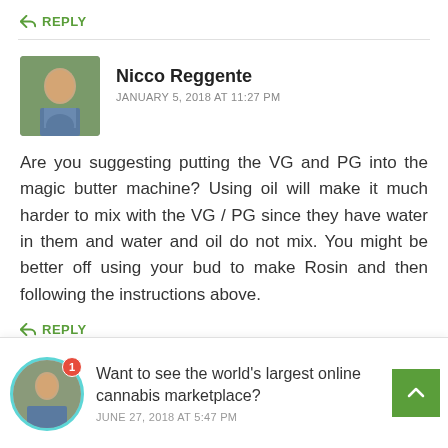REPLY
Nicco Reggente
JANUARY 5, 2018 AT 11:27 PM
Are you suggesting putting the VG and PG into the magic butter machine? Using oil will make it much harder to mix with the VG / PG since they have water in them and water and oil do not mix. You might be better off using your bud to make Rosin and then following the instructions above.
REPLY
Want to see the world's largest online cannabis marketplace?
JUNE 27, 2018 AT 5:47 PM